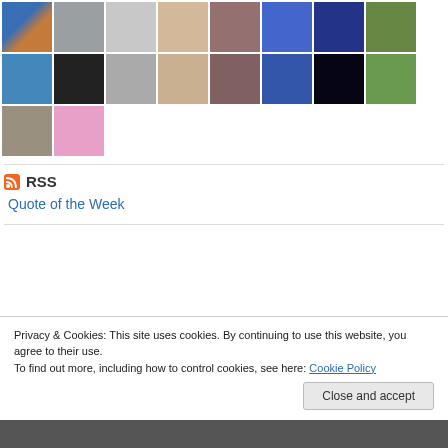[Figure (photo): Grid of user avatar thumbnail photos, 8 per row, two rows visible, plus two more in a third row.]
RSS
Quote of the Week
Privacy & Cookies: This site uses cookies. By continuing to use this website, you agree to their use.
To find out more, including how to control cookies, see here: Cookie Policy
Close and accept